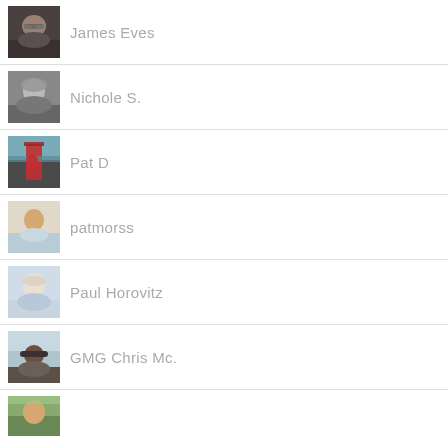James Eves
Nichole S.
Pat D
patmorss
Paul Horovitz
GMG Chris Mc.
(partial avatar, no name visible)